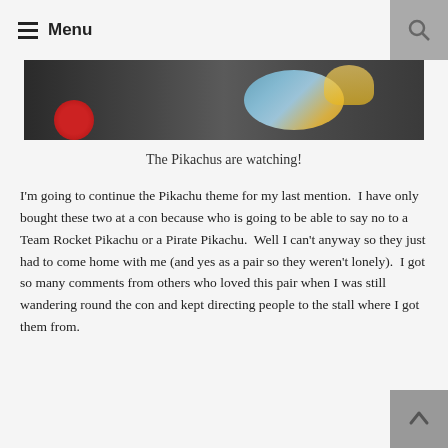Menu
[Figure (photo): Cropped photograph of Pikachu plush toys on a dark surface, partially visible at top of page]
The Pikachus are watching!
I'm going to continue the Pikachu theme for my last mention.  I have only bought these two at a con because who is going to be able to say no to a Team Rocket Pikachu or a Pirate Pikachu.  Well I can't anyway so they just had to come home with me (and yes as a pair so they weren't lonely).  I got so many comments from others who loved this pair when I was still wandering round the con and kept directing people to the stall where I got them from.